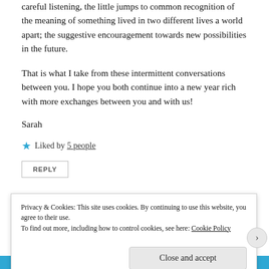careful listening, the little jumps to common recognition of the meaning of something lived in two different lives a world apart; the suggestive encouragement towards new possibilities in the future.
That is what I take from these intermittent conversations between you. I hope you both continue into a new year rich with more exchanges between you and with us!
Sarah
★ Liked by 5 people
REPLY
Privacy & Cookies: This site uses cookies. By continuing to use this website, you agree to their use. To find out more, including how to control cookies, see here: Cookie Policy
Close and accept